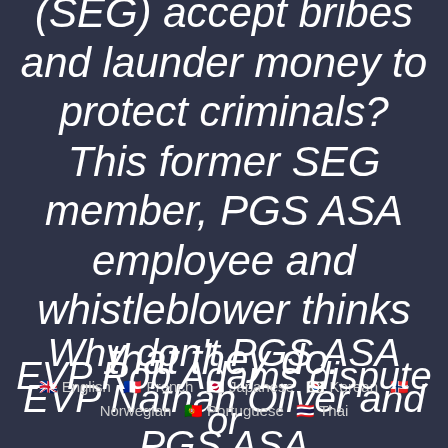(SEG) accept bribes and launder money to protect criminals? This former SEG member, PGS ASA employee and whistleblower thinks that they do.
Why don't PGS ASA EVP Nathan Oliver and PGS ASA EVP Rob Adams dispute or
🇬🇧 English 🇫🇷 French 🇯🇵 Japanese 🇰🇷 Korean 🇳🇴 Norwegian 🇵🇹 Portuguese 🇹🇭 Thai